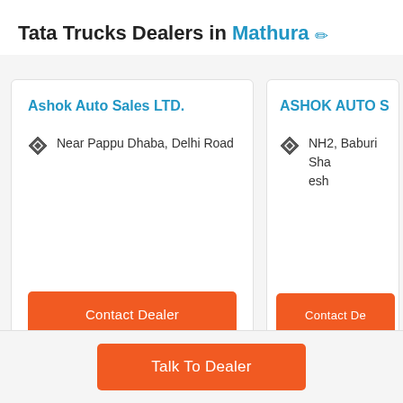Tata Trucks Dealers in Mathura ✏
Ashok Auto Sales LTD.
Near Pappu Dhaba, Delhi Road
Contact Dealer
ASHOK AUTO SALES...
NH2, Baburi Sha... esh
Contact De...
Talk To Dealer